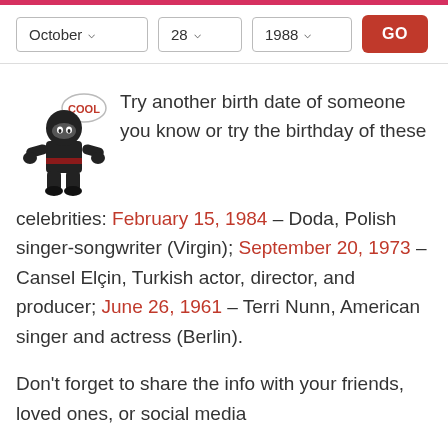[Figure (screenshot): Date selector UI with dropdowns for October, 28, 1988 and a red GO button]
[Figure (illustration): Ninja character mascot with speech bubble saying COOL]
Try another birth date of someone you know or try the birthday of these celebrities: February 15, 1984 – Doda, Polish singer-songwriter (Virgin); September 20, 1973 – Cansel Elçin, Turkish actor, director, and producer; June 26, 1961 – Terri Nunn, American singer and actress (Berlin).
Don't forget to share the info with your friends, loved ones, or social media